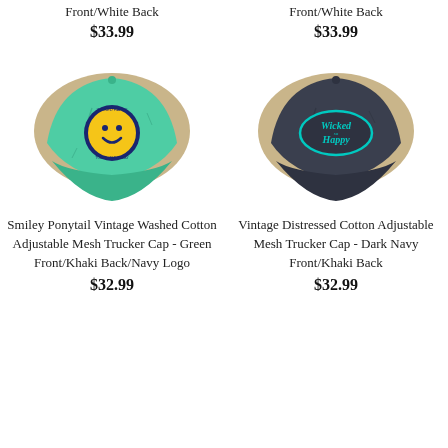Front/White Back
$33.99
Front/White Back
$33.99
[Figure (photo): Smiley face patch trucker cap, mint green front with khaki mesh back, distressed vintage wash]
[Figure (photo): Wicked Happy oval embroidered trucker cap, dark navy front with khaki mesh back, distressed vintage look]
Smiley Ponytail Vintage Washed Cotton Adjustable Mesh Trucker Cap - Green Front/Khaki Back/Navy Logo
$32.99
Vintage Distressed Cotton Adjustable Mesh Trucker Cap - Dark Navy Front/Khaki Back
$32.99